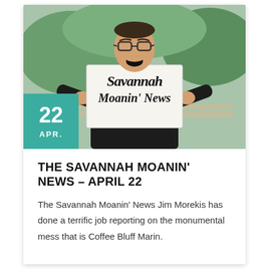[Figure (photo): A man in a suit sitting on a bench, mouth open as if shouting, holding a sign that reads 'Savannah Moanin' News' in blackletter/gothic typeface. A teal date badge showing '22 APR.' is overlaid at bottom-left of the photo.]
THE SAVANNAH MOANIN' NEWS – APRIL 22
The Savannah Moanin' News Jim Morekis has done a terrific job reporting on the monumental mess that is Coffee Bluff Marin.